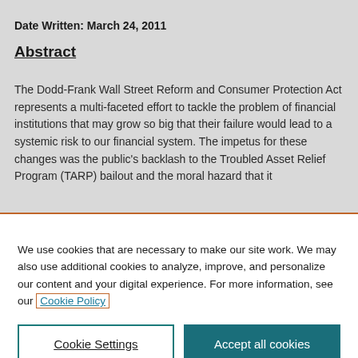Date Written: March 24, 2011
Abstract
The Dodd-Frank Wall Street Reform and Consumer Protection Act represents a multi-faceted effort to tackle the problem of financial institutions that may grow so big that their failure would lead to a systemic risk to our financial system. The impetus for these changes was the public's backlash to the Troubled Asset Relief Program (TARP) bailout and the moral hazard that it
We use cookies that are necessary to make our site work. We may also use additional cookies to analyze, improve, and personalize our content and your digital experience. For more information, see our Cookie Policy
Cookie Settings
Accept all cookies